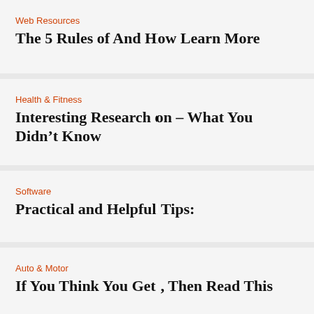Web Resources
The 5 Rules of And How Learn More
Health & Fitness
Interesting Research on – What You Didn’t Know
Software
Practical and Helpful Tips:
Auto & Motor
If You Think You Get , Then Read This